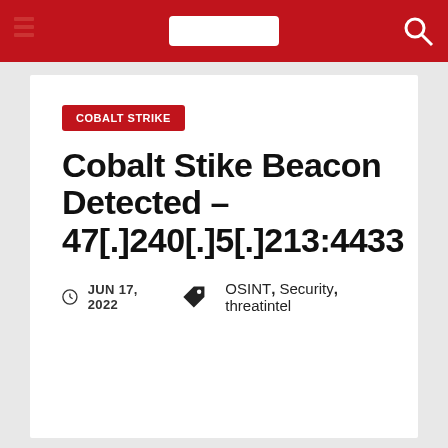COBALT STRIKE – blog header navigation bar
COBALT STRIKE
Cobalt Stike Beacon Detected – 47[.]240[.]5[.]213:4433
JUN 17, 2022   OSINT, Security, threatintel